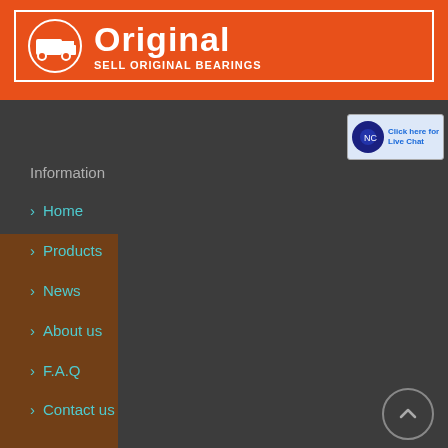[Figure (logo): Orange banner with truck icon, 'Original' text and 'SELL ORIGINAL BEARINGS' subtitle in a white-bordered box]
[Figure (screenshot): Small live chat button widget in upper right corner]
Information
> Home
> Products
> News
> About us
> F.A.Q
> Contact us
Top sellers
> NSK QJ217 bearing
> NSK N1010RXHZTP bearing
> KOYO 22226RHRK bearing
> NACHI 6907N bearing